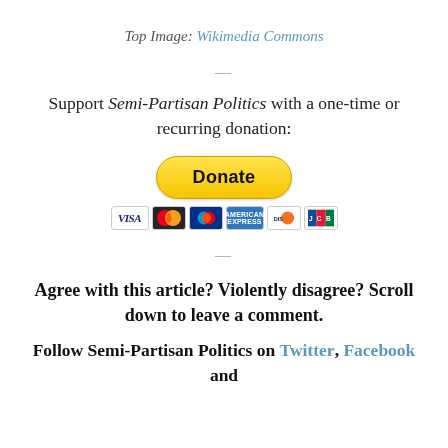Top Image: Wikimedia Commons
Support Semi-Partisan Politics with a one-time or recurring donation:
[Figure (other): PayPal Donate button with payment card icons (Visa, Mastercard, PayPal, American Express, Discover, JCB)]
Agree with this article? Violently disagree? Scroll down to leave a comment.
Follow Semi-Partisan Politics on Twitter, Facebook and